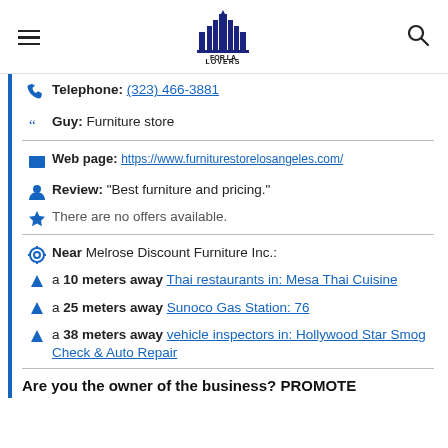FOR LA LOVERS
Telephone: (323) 466-3881
Guy: Furniture store
Web page: https://www.furniturestorelosangeles.com/
Review: "Best furniture and pricing."
There are no offers available.
Near Melrose Discount Furniture Inc.:
a 10 meters away Thai restaurants in: Mesa Thai Cuisine
a 25 meters away Sunoco Gas Station: 76
a 38 meters away vehicle inspectors in: Hollywood Star Smog Check & Auto Repair
Are you the owner of the business? PROMOTE